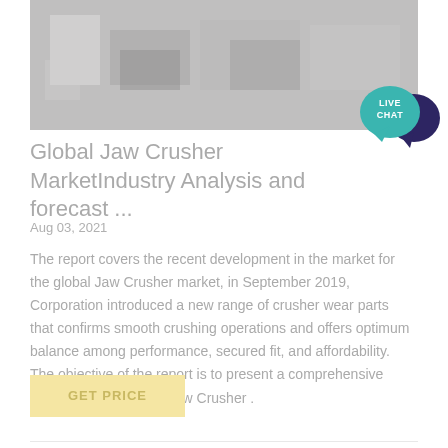[Figure (photo): Grayscale photo of industrial jaw crusher machinery equipment]
[Figure (other): Live Chat speech bubble icon in teal/dark blue colors with text LIVE CHAT]
Global Jaw Crusher MarketIndustry Analysis and forecast ...
Aug 03, 2021
The report covers the recent development in the market for the global Jaw Crusher market, in September 2019, Corporation introduced a new range of crusher wear parts that confirms smooth crushing operations and offers optimum balance among performance, secured fit, and affordability. The objective of the report is to present a comprehensive analysis of the Global Jaw Crusher .
GET PRICE